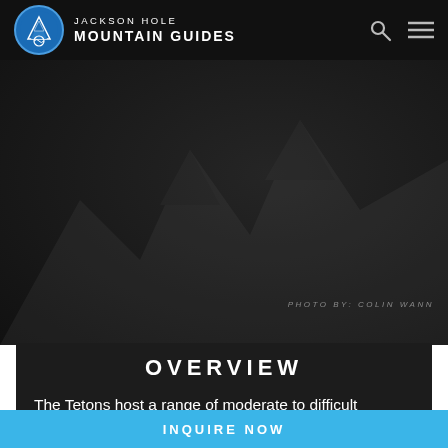JACKSON HOLE MOUNTAIN GUIDES
[Figure (photo): Dark mountain photo with text overlay: PHOTO BY: COLIN WANN]
PHOTO BY: COLIN WANN
OVERVIEW
The Tetons host a range of moderate to difficult mountain summits that can be reached in a long day. These climbs represent a variety of difficulties and
INQUIRE NOW